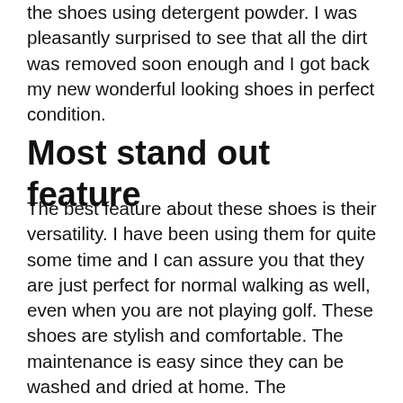the shoes using detergent powder. I was pleasantly surprised to see that all the dirt was removed soon enough and I got back my new wonderful looking shoes in perfect condition.
Most stand out feature
The best feature about these shoes is their versatility. I have been using them for quite some time and I can assure you that they are just perfect for normal walking as well, even when you are not playing golf. These shoes are stylish and comfortable. The maintenance is easy since they can be washed and dried at home. The performance is world class since I have had the best experience while playing golf with its